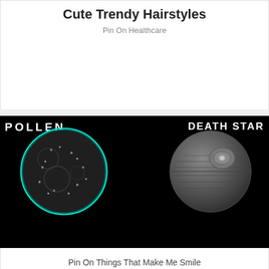Cute Trendy Hairstyles
Pin On Healthcare
[Figure (photo): Comparison image showing a pollen grain on the left (cyan-outlined sphere against black background) and the Death Star from Star Wars on the right (grey textured sphere against black background), with text 'POLLEN' on the upper left and 'DEATH STAR' on the upper right]
Pin On Things That Make Me Smile
[Figure (infographic): Partial infographic showing allergens and symptoms. Bottom-left shows text '(allergens)' with Pollen label and a green plant illustration. Center shows a woman's face illustration. Bottom-right shows 'symptoms' with 'Watery eyes' label.]